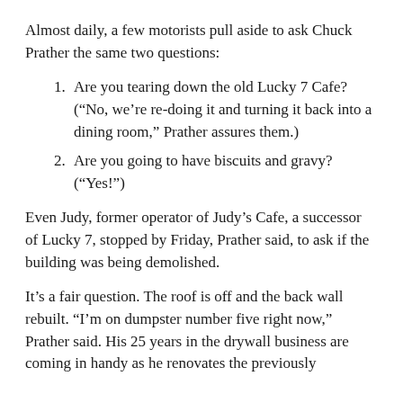Almost daily, a few motorists pull aside to ask Chuck Prather the same two questions:
Are you tearing down the old Lucky 7 Cafe? (“No, we’re re-doing it and turning it back into a dining room,” Prather assures them.)
Are you going to have biscuits and gravy? (“Yes!”)
Even Judy, former operator of Judy’s Cafe, a successor of Lucky 7, stopped by Friday, Prather said, to ask if the building was being demolished.
It’s a fair question. The roof is off and the back wall rebuilt. “I’m on dumpster number five right now,” Prather said. His 25 years in the drywall business are coming in handy as he renovates the previously